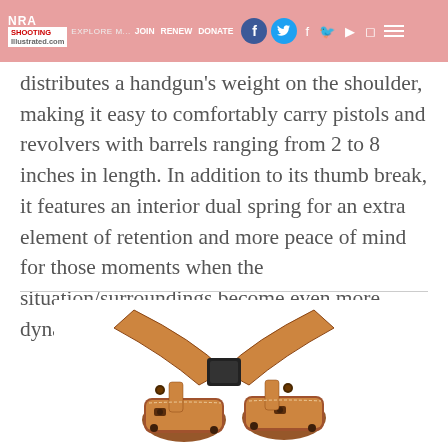NRA EXPLORE MORE | JOIN | RENEW | DONATE — NRA Shooting Illustrated.com
distributes a handgun's weight on the shoulder, making it easy to comfortably carry pistols and revolvers with barrels ranging from 2 to 8 inches in length. In addition to its thumb break, it features an interior dual spring for an extra element of retention and more peace of mind for those moments when the situation/surroundings become even more dynamic. MSRP: $158.75; safariland.com
[Figure (photo): A brown leather shoulder holster system shown against a white background, featuring straps, snap closures, and dual holster pouches.]